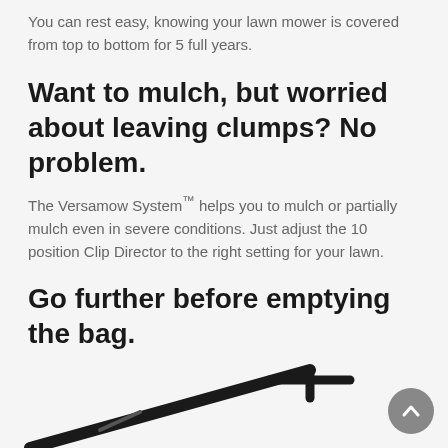You can rest easy, knowing your lawn mower is covered from top to bottom for 5 full years.
Want to mulch, but worried about leaving clumps? No problem.
The Versamow System™ helps you to mulch or partially mulch even in severe conditions. Just adjust the 10 position Clip Director to the right setting for your lawn.
Go further before emptying the bag.
Smaller grass clippings mean more grass fits in the bag. So you can mow up to 30% farther before you have to empty the bag.
[Figure (photo): Partial view of a lawn mower component, showing a dark bar/handle against a light background, partially cropped at the bottom of the page.]